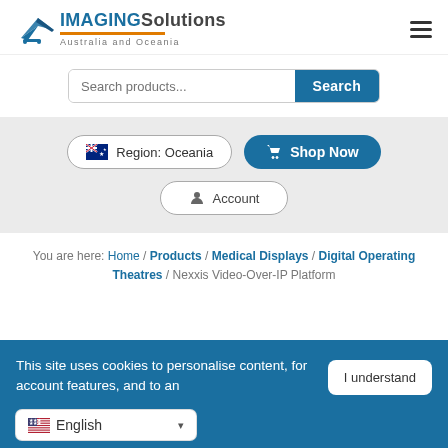[Figure (logo): Imaging Solutions Australia and Oceania logo with blue airplane/swoosh icon and orange underline]
Search products...
Search
Region: Oceania
Shop Now
Account
You are here: Home / Products / Medical Displays / Digital Operating Theatres / Nexxis Video-Over-IP Platform
This site uses cookies to personalise content, for account features, and to an...
I understand
English